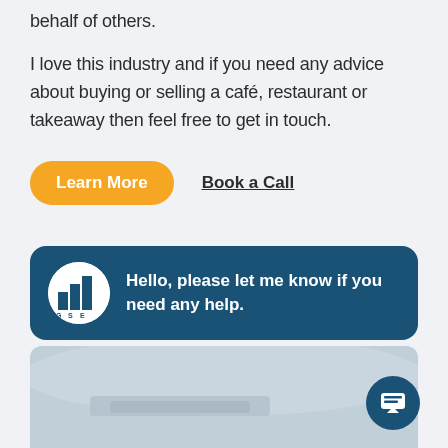behalf of others.
I love this industry and if you need any advice about buying or selling a café, restaurant or takeaway then feel free to get in touch.
Learn More
Book a Call
[Figure (screenshot): Chat widget with GSE logo avatar and message: Hello, please let me know if you need any help.]
[Figure (photo): Partial photo of person relaxing in a hammock, bottom of page]